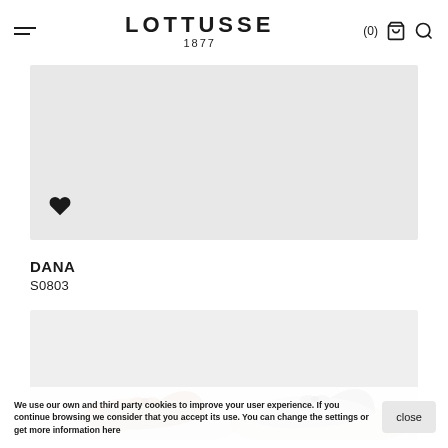LOTTUSSE 1877
[Figure (photo): Light grey rectangular image placeholder for a product photo with a heart/favourite icon at the bottom left]
DANA
S0803
[Figure (photo): Product image showing two ballet flat shoes side by side on a light grey background]
We use our own and third party cookies to improve your user experience. If you continue browsing we consider that you accept its use. You can change the settings or get more information here